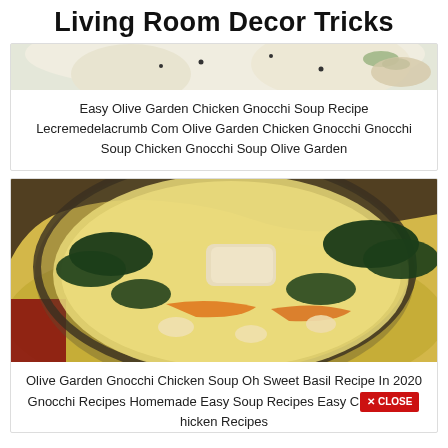Living Room Decor Tricks
[Figure (photo): Top portion of a soup or food photo, showing a cream-colored dish with black pepper specks, partially cropped]
Easy Olive Garden Chicken Gnocchi Soup Recipe Lecremedelacrumb Com Olive Garden Chicken Gnocchi Gnocchi Soup Chicken Gnocchi Soup Olive Garden
[Figure (photo): Close-up photo of a ladle holding creamy chicken gnocchi soup with spinach and carrots over a pot of soup]
Olive Garden Gnocchi Chicken Soup Oh Sweet Basil Recipe In 2020 Gnocchi Recipes Homemade Easy Soup Recipes Easy Chicken Recipes